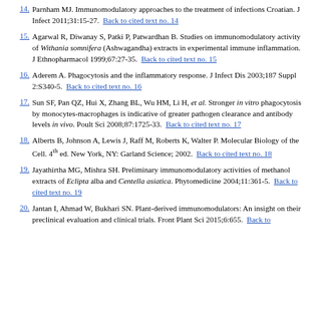14. Parnham MJ. Immunomodulatory approaches to the treatment of infections Croatian. J Infect 2011;31:15-27. Back to cited text no. 14
15. Agarwal R, Diwanay S, Patki P, Patwardhan B. Studies on immunomodulatory activity of Withania somnifera (Ashwagandha) extracts in experimental immune inflammation. J Ethnopharmacol 1999;67:27-35. Back to cited text no. 15
16. Aderem A. Phagocytosis and the inflammatory response. J Infect Dis 2003;187 Suppl 2:S340-5. Back to cited text no. 16
17. Sun SF, Pan QZ, Hui X, Zhang BL, Wu HM, Li H, et al. Stronger in vitro phagocytosis by monocytes-macrophages is indicative of greater pathogen clearance and antibody levels in vivo. Poult Sci 2008;87:1725-33. Back to cited text no. 17
18. Alberts B, Johnson A, Lewis J, Raff M, Roberts K, Walter P. Molecular Biology of the Cell. 4th ed. New York, NY: Garland Science; 2002. Back to cited text no. 18
19. Jayathirtha MG, Mishra SH. Preliminary immunomodulatory activities of methanol extracts of Eclipta alba and Centella asiatica. Phytomedicine 2004;11:361-5. Back to cited text no. 19
20. Jantan I, Ahmad W, Bukhari SN. Plant-derived immunomodulators: An insight on their preclinical evaluation and clinical trials. Front Plant Sci 2015;6:655. Back to